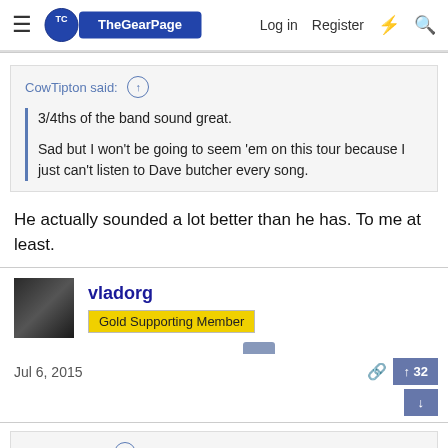The Gear Page — Log in Register
CowTipton said: ↑
3/4ths of the band sound great.
Sad but I won't be going to seem 'em on this tour because I just can't listen to Dave butcher every song.
He actually sounded a lot better than he has. To me at least.
vladorg
Gold Supporting Member
Jul 6, 2015
big mike said: ↑